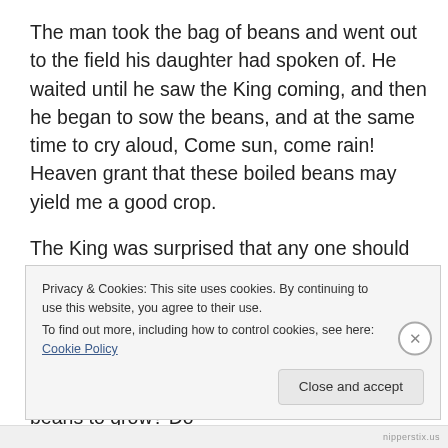The man took the bag of beans and went out to the field his daughter had spoken of. He waited until he saw the King coming, and then he began to sow the beans, and at the same time to cry aloud, Come sun, come rain! Heaven grant that these boiled beans may yield me a good crop.
The King was surprised that any one should be so stupid as to think boiled beans would grow and yield a crop. He did not recognize the man, for he had only seen him once, and he stopped his horse to speak to him. My poor man, said he, how can you expect boiled beans to grow? Do
Privacy & Cookies: This site uses cookies. By continuing to use this website, you agree to their use.
To find out more, including how to control cookies, see here: Cookie Policy
Close and accept
nipperstix.us